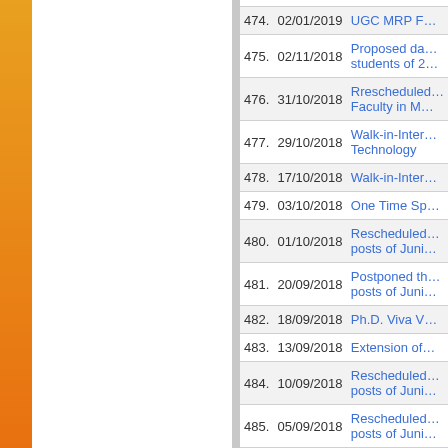| No. | Date | Title |
| --- | --- | --- |
| 474. | 02/01/2019 | UGC MRP F… |
| 475. | 02/11/2018 | Proposed da… students of 2… |
| 476. | 31/10/2018 | Rrescheduled… Faculty in M… |
| 477. | 29/10/2018 | Walk-in-Inter… Technology |
| 478. | 17/10/2018 | Walk-in-Inter… |
| 479. | 03/10/2018 | One Time Sp… |
| 480. | 01/10/2018 | Rescheduled… posts of Juni… |
| 481. | 20/09/2018 | Postponed th… posts of Juni… |
| 482. | 18/09/2018 | Ph.D. Viva V… |
| 483. | 13/09/2018 | Extension of… |
| 484. | 10/09/2018 | Rescheduled… posts of Juni… |
| 485. | 05/09/2018 | Rescheduled… posts of Juni… |
|  | 05/09/2018 | Rescheduled… |